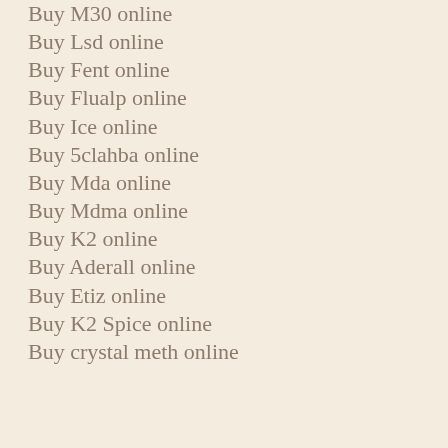Buy M30 online
Buy Lsd online
Buy Fent online
Buy Flualp online
Buy Ice online
Buy 5clahba online
Buy Mda online
Buy Mdma online
Buy K2 online
Buy Aderall online
Buy Etiz online
Buy K2 Spice online
Buy crystal meth online